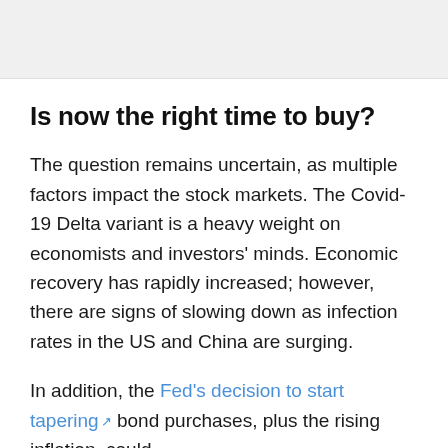[Figure (photo): Top portion of an image, partially cropped, showing a light gray/pink background area]
Is now the right time to buy?
The question remains uncertain, as multiple factors impact the stock markets. The Covid-19 Delta variant is a heavy weight on economists and investors' minds. Economic recovery has rapidly increased; however, there are signs of slowing down as infection rates in the US and China are surging.
In addition, the Fed's decision to start tapering bond purchases, plus the rising inflation, could